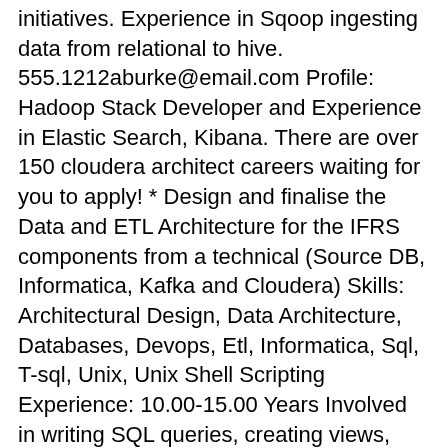initiatives. Experience in Sqoop ingesting data from relational to hive. 555.1212aburke@email.com Profile: Hadoop Stack Developer and Experience in Elastic Search, Kibana. There are over 150 cloudera architect careers waiting for you to apply! * Design and finalise the Data and ETL Architecture for the IFRS components from a technical (Source DB, Informatica, Kafka and Cloudera) Skills: Architectural Design, Data Architecture, Databases, Devops, Etl, Informatica, Sql, T-sql, Unix, Unix Shell Scripting Experience: 10.00-15.00 Years Involved in writing SQL queries, creating views, triggers and audit tables in Oracle for data migration and data retention. Cheney, KS 67025 (111) 334-2469. Solution Architect salaries at Cloudera can range from $126,230 - $174,817. And, we use fellow engineers as our resume reviewers, so you can be sure that we "get" what you're saying. Cloudera uses cookies to provide and improve our site services. Working knowledge of R to statistically analyze and explore data. More than one-third of businesses admit that cloud